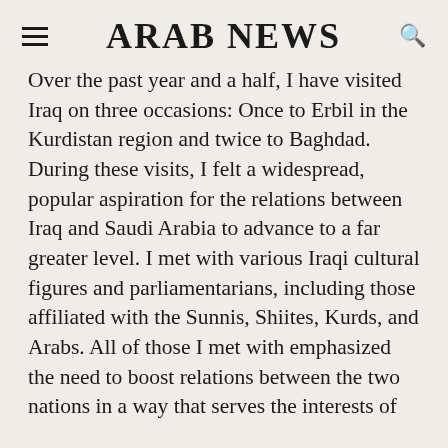ARAB NEWS
Over the past year and a half, I have visited Iraq on three occasions: Once to Erbil in the Kurdistan region and twice to Baghdad. During these visits, I felt a widespread, popular aspiration for the relations between Iraq and Saudi Arabia to advance to a far greater level. I met with various Iraqi cultural figures and parliamentarians, including those affiliated with the Sunnis, Shiites, Kurds, and Arabs. All of those I met with emphasized the need to boost relations between the two nations in a way that serves the interests of both. I also found increasing popular anger at Iranian interference in Iraqi affairs and at the Iranian regime's continuous use of blackmail as a policy, especially concerning issues like providing Iraq